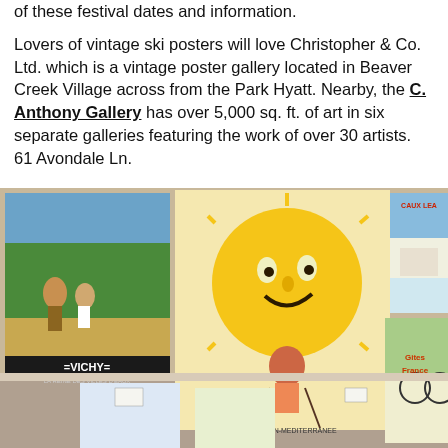of these festival dates and information.
Lovers of vintage ski posters will love Christopher & Co. Ltd. which is a vintage poster gallery located in Beaver Creek Village across from the Park Hyatt. Nearby, the C. Anthony Gallery has over 5,000 sq. ft. of art in six separate galleries featuring the work of over 30 artists. 61 Avondale Ln.
[Figure (photo): Interior of a vintage poster gallery showing multiple framed posters on walls and leaning against display boards, including a 'VICHY - LA REINE DES VILLES D'EAUX' poster and a ski-themed poster with a smiling sun face.]